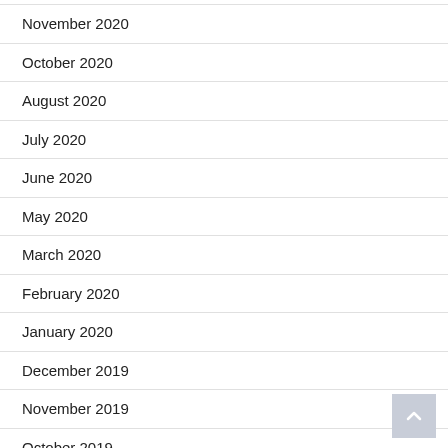November 2020
October 2020
August 2020
July 2020
June 2020
May 2020
March 2020
February 2020
January 2020
December 2019
November 2019
October 2019
June 2019
May 2019